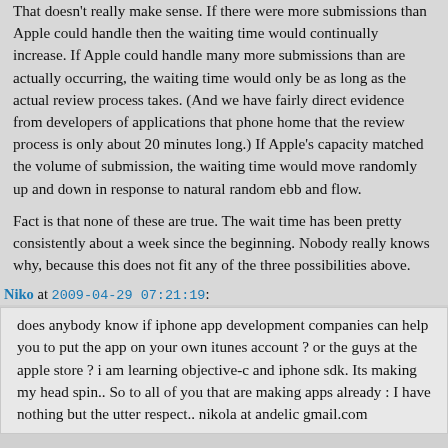That doesn't really make sense. If there were more submissions than Apple could handle then the waiting time would continually increase. If Apple could handle many more submissions than are actually occurring, the waiting time would only be as long as the actual review process takes. (And we have fairly direct evidence from developers of applications that phone home that the review process is only about 20 minutes long.) If Apple's capacity matched the volume of submission, the waiting time would move randomly up and down in response to natural random ebb and flow.
Fact is that none of these are true. The wait time has been pretty consistently about a week since the beginning. Nobody really knows why, because this does not fit any of the three possibilities above.
Niko at 2009-04-29 07:21:19:
does anybody know if iphone app development companies can help you to put the app on your own itunes account ? or the guys at the apple store ? i am learning objective-c and iphone sdk. Its making my head spin.. So to all of you that are making apps already : I have nothing but the utter respect.. nikola at andelic gmail.com